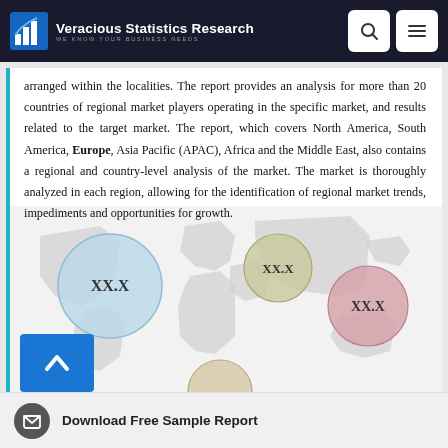Veracious Statistics Research — WE KNOW YOUR BUSINESS NEEDS
arranged within the localities. The report provides an analysis for more than 20 countries of regional market players operating in the specific market, and results related to the target market. The report, which covers North America, South America, Europe, Asia Pacific (APAC), Africa and the Middle East, also contains a regional and country-level analysis of the market. The market is thoroughly analyzed in each region, allowing for the identification of regional market trends, impediments and opportunities for growth.
[Figure (infographic): World map bubble chart showing regional market values with placeholders XX.X for North America (large blue bubble), Europe/Middle region (olive/tan bubble, XX.X), Asia Pacific (pink/red bubble, XX.X), and a partial bubble at bottom center, overlaid on a grey world map silhouette.]
Download Free Sample Report